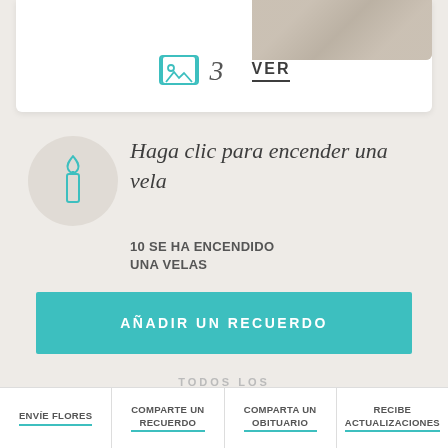[Figure (other): White card with photo icon showing '3' and 'VER' link with underline]
Haga clic para encender una vela
10 SE HA ENCENDIDO UNA VELAS
AÑADIR UN RECUERDO
TODOS LOS
RECUERDOS
ENVÍE FLORES | COMPARTE UN RECUERDO | COMPARTA UN OBITUARIO | RECIBE ACTUALIZACIONES